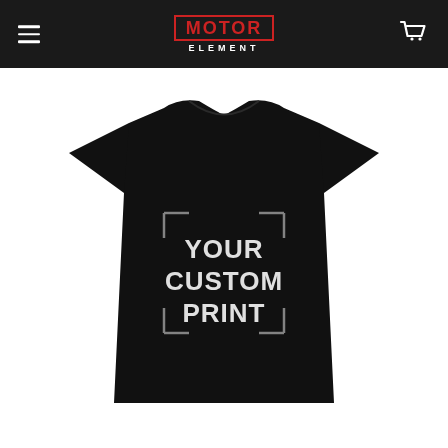Motor Element - navigation header with logo and cart icon
[Figure (photo): Black t-shirt with 'YOUR CUSTOM PRINT' text inside a decorative bracket/frame design on the chest area, displayed on white background]